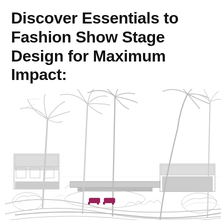Discover Essentials to Fashion Show Stage Design for Maximum Impact:
[Figure (illustration): A line-art illustration of a tropical outdoor venue with tall palm trees, modern low-rise buildings, lush tropical foliage, a pool or runway area with two small magenta/pink accent chairs or loungers, and a curved path in the foreground. The sketch is rendered in light gray lines on white with minimal color accents (magenta for the chairs, soft gray for building shadows).]